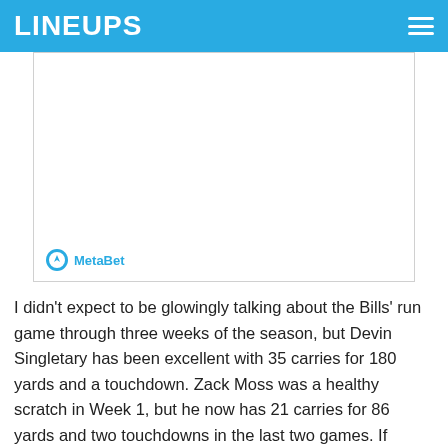LINEUPS
[Figure (other): Advertisement box with MetaBet logo at bottom left]
I didn't expect to be glowingly talking about the Bills' run game through three weeks of the season, but Devin Singletary has been excellent with 35 carries for 180 yards and a touchdown. Zack Moss was a healthy scratch in Week 1, but he now has 21 carries for 86 yards and two touchdowns in the last two games. If Buffalo's offense can provide a consistent rushing threat to go with an elite offense, it will make this team even more dangerous. On Sunday, Josh Allen had a stellar game with 358 passing yards